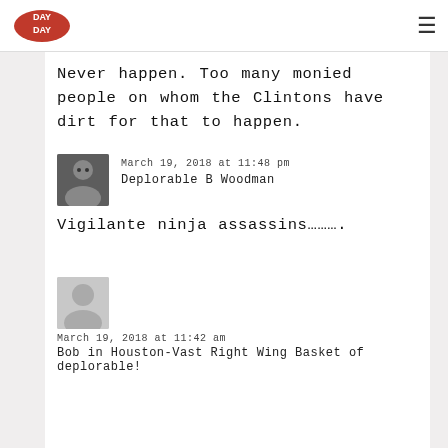Day Day (logo) | hamburger menu
Never happen. Too many monied people on whom the Clintons have dirt for that to happen.
March 19, 2018 at 11:48 pm
Deplorable B Woodman
Vigilante ninja assassins……….
March 19, 2018 at 11:42 am
Bob in Houston-Vast Right Wing Basket of deplorable!